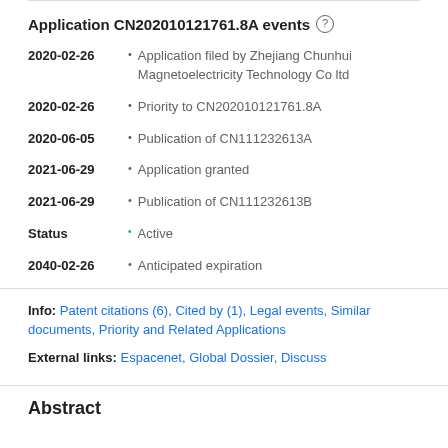Application CN202010121761.8A events
2020-02-26 • Application filed by Zhejiang Chunhui Magnetoelectricity Technology Co ltd
2020-02-26 • Priority to CN202010121761.8A
2020-06-05 • Publication of CN111232613A
2021-06-29 • Application granted
2021-06-29 • Publication of CN111232613B
Status • Active
2040-02-26 • Anticipated expiration
Info: Patent citations (6), Cited by (1), Legal events, Similar documents, Priority and Related Applications
External links: Espacenet, Global Dossier, Discuss
Abstract